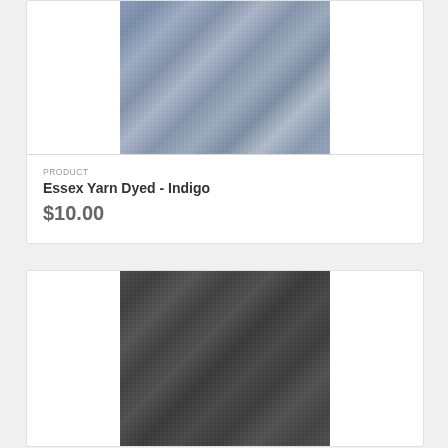[Figure (photo): Close-up photo of Essex Yarn Dyed fabric in Indigo color — a blue-grey woven textile with visible weave texture]
PRODUCT
Essex Yarn Dyed - Indigo
$10.00
[Figure (photo): Close-up photo of dark charcoal/graphite woven fabric textile with visible weave texture]